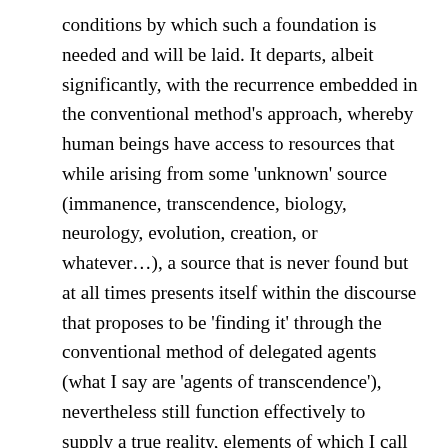conditions by which such a foundation is needed and will be laid. It departs, albeit significantly, with the recurrence embedded in the conventional method's approach, whereby human beings have access to resources that while arising from some 'unknown' source (immanence, transcendence, biology, neurology, evolution, creation, or whatever…), a source that is never found but at all times presents itself within the discourse that proposes to be 'finding it' through the conventional method of delegated agents (what I say are 'agents of transcendence'), nevertheless still function effectively to supply a true reality, elements of which I call 'True Objects'; the delegation process instigated by humans is at all times assumed to have the support of providence, regardless of what people might